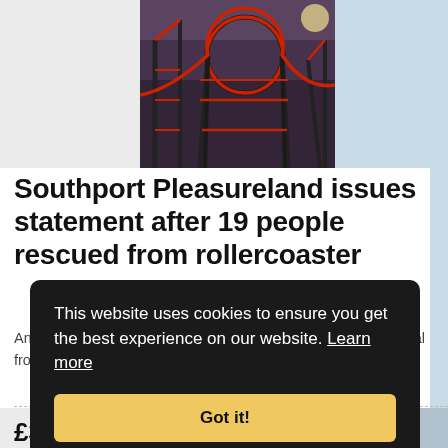[Figure (photo): Rollercoaster photo with dark metal structure against a dusk sky, with red track details visible.]
Southport Pleasureland issues statement after 19 people rescued from rollercoaster
An investigation is underway after a child was rushed to hospital from the park Liverpool Echo – What's On ...
This website uses cookies to ensure you get the best experience on our website. Learn more
Got it!
£3.00